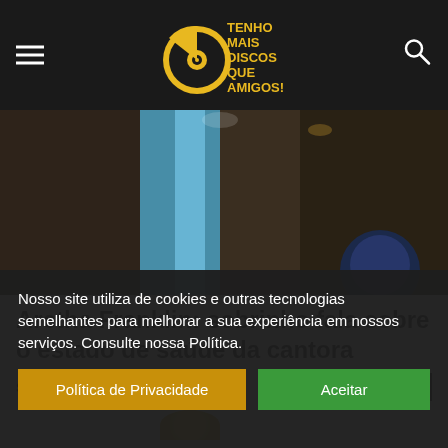TENHO MAIS DISCOS QUE AMIGOS!
[Figure (photo): Concert stage photo with blue curtains and lighting equipment]
Aretha Franklin: sobrinho fala sobre o estado de saúde da cantora
Stephanie Hahne - 15/08/2018
Nosso site utiliza de cookies e outras tecnologias semelhantes para melhorar a sua experiência em nossos serviços. Consulte nossa Política.
Política de Privacidade  Aceitar